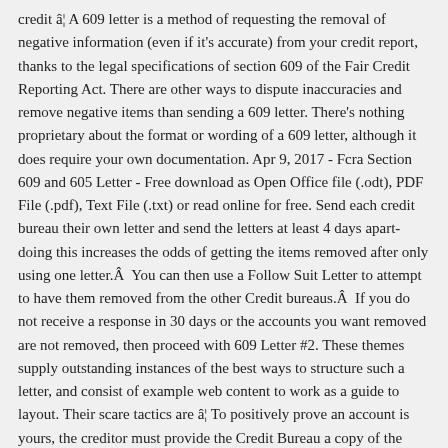credit â¦ A 609 letter is a method of requesting the removal of negative information (even if it's accurate) from your credit report, thanks to the legal specifications of section 609 of the Fair Credit Reporting Act. There are other ways to dispute inaccuracies and remove negative items than sending a 609 letter. There's nothing proprietary about the format or wording of a 609 letter, although it does require your own documentation. Apr 9, 2017 - Fcra Section 609 and 605 Letter - Free download as Open Office file (.odt), PDF File (.pdf), Text File (.txt) or read online for free. Send each credit bureau their own letter and send the letters at least 4 days apart- doing this increases the odds of getting the items removed after only using one letter.Â  You can then use a Follow Suit Letter to attempt to have them removed from the other Credit bureaus.Â  If you do not receive a response in 30 days or the accounts you want removed are not removed, then proceed with 609 Letter #2. These themes supply outstanding instances of the best ways to structure such a letter, and consist of example web content to work as a guide to layout. Their scare tactics are â¦ To positively prove an account is yours, the creditor must provide the Credit Bureau a copy of the original creditor's documentation (whatever you filled out and signed upon opening the account with the reporting creditor). All downloadable files are in Microsoft Word format and a reader for this format is